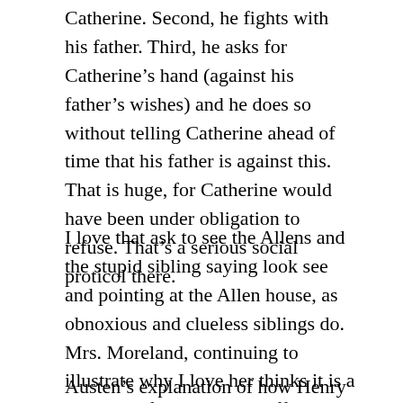Catherine. Second, he fights with his father. Third, he asks for Catherine’s hand (against his father’s wishes) and he does so without telling Catherine ahead of time that his father is against this. That is huge, for Catherine would have been under obligation to refuse. That’s a serious social proticol there.
I love that ask to see the Allens and the stupid sibling saying look see and pointing at the Allen house, as obnoxious and clueless siblings do. Mrs. Moreland, continuing to illustrate why I love her thinks it is a great idea for them to go off alone to pay their respects.
Austen’s explanation of how Henry came to